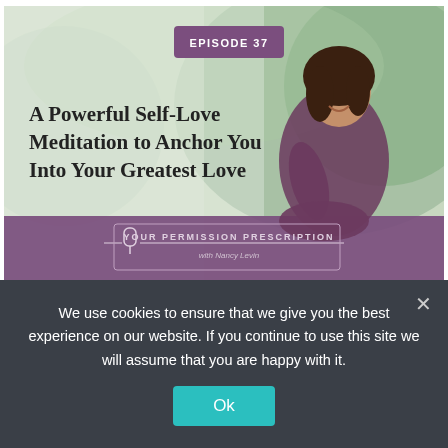[Figure (illustration): Podcast episode thumbnail for 'Your Permission Prescription' with Nancy Levin. Episode 37. Shows a woman sitting outdoors with a green background. Title text: 'A Powerful Self-Love Meditation to Anchor You Into Your Greatest Love'. Purple/mauve background at bottom with podcast logo and name.]
A Powerful Self-Love Meditation to
We use cookies to ensure that we give you the best experience on our website. If you continue to use this site we will assume that you are happy with it.